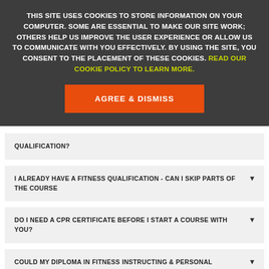THIS SITE USES COOKIES TO STORE INFORMATION ON YOUR COMPUTER. SOME ARE ESSENTIAL TO MAKE OUR SITE WORK; OTHERS HELP US IMPROVE THE USER EXPERIENCE OR ALLOW US TO COMMUNICATE WITH YOU EFFECTIVELY. BY USING THE SITE, YOU CONSENT TO THE PLACEMENT OF THESE COOKIES. READ OUR COOKIE POLICY TO LEARN MORE.
AGREE & DISMISS
QUALIFICATION?
I ALREADY HAVE A FITNESS QUALIFICATION - CAN I SKIP PARTS OF THE COURSE
DO I NEED A CPR CERTIFICATE BEFORE I START A COURSE WITH YOU?
COULD MY DIPLOMA IN FITNESS INSTRUCTING & PERSONAL TRAINING ALLOW ME TO ENROL ON A UNIVERSITY COURSE?